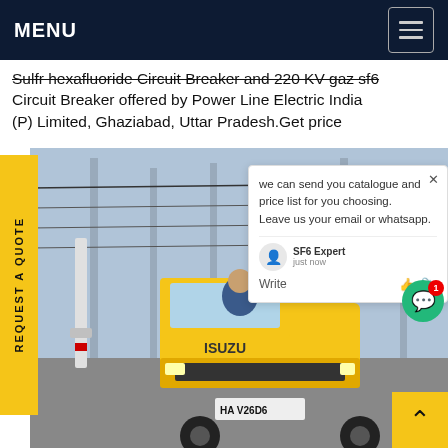MENU
Sulfr hexafluoride Circuit Breaker and 220 KV gaz sf6 Circuit Breaker offered by Power Line Electric India (P) Limited, Ghaziabad, Uttar Pradesh.Get price
[Figure (photo): Yellow ISUZU truck at an electrical substation with high-voltage transmission towers and cables in the background. A person in a blue jacket is visible in the truck cab. License plate reads HA V26D6.]
REQUEST A QUOTE
we can send you catalogue and price list for you choosing. Leave us your email or whatsapp.
SF6 Expert   just now
Write